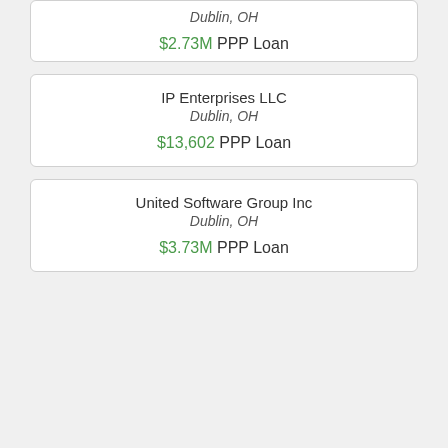Dublin, OH | $2.73M PPP Loan
IP Enterprises LLC | Dublin, OH | $13,602 PPP Loan
United Software Group Inc | Dublin, OH | $3.73M PPP Loan